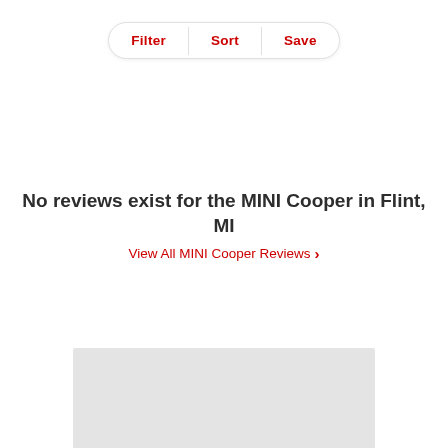[Figure (screenshot): Filter/Sort/Save pill-shaped toolbar with three options separated by dividers]
No reviews exist for the MINI Cooper in Flint, MI
View All MINI Cooper Reviews >
[Figure (other): Gray placeholder block at the bottom of the page]